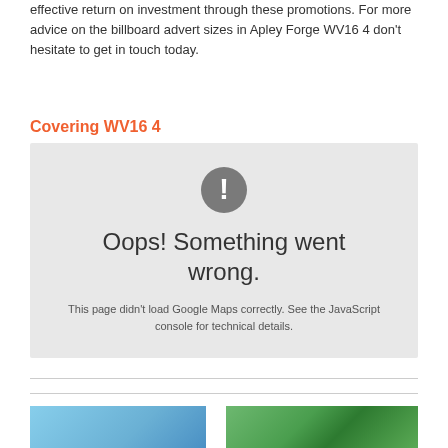effective return on investment through these promotions. For more advice on the billboard advert sizes in Apley Forge WV16 4 don't hesitate to get in touch today.
Covering WV16 4
[Figure (screenshot): Google Maps error state showing a grey box with exclamation icon, text 'Oops! Something went wrong.' and 'This page didn't load Google Maps correctly. See the JavaScript console for technical details.']
[Figure (photo): Two partial photos at bottom of page, left showing sky/blue tones, right showing trees/green foliage]